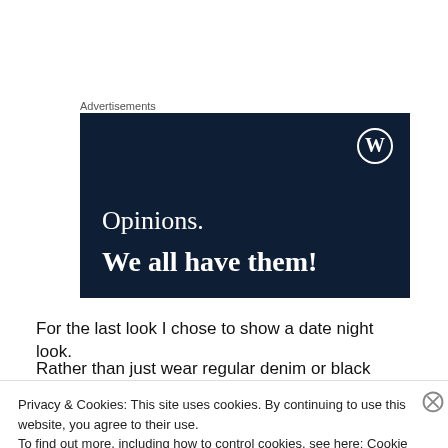Advertisements
[Figure (illustration): Dark navy blue advertisement banner for WordPress.com featuring the WordPress logo (W in circle) in the top right, with white serif text reading 'Opinions.' on one line and bold white text 'We all have them!' below.]
For the last look I chose to show a date night look.
Rather than just wear regular denim or black jeans, I
Privacy & Cookies: This site uses cookies. By continuing to use this website, you agree to their use.
To find out more, including how to control cookies, see here: Cookie Policy
Close and accept